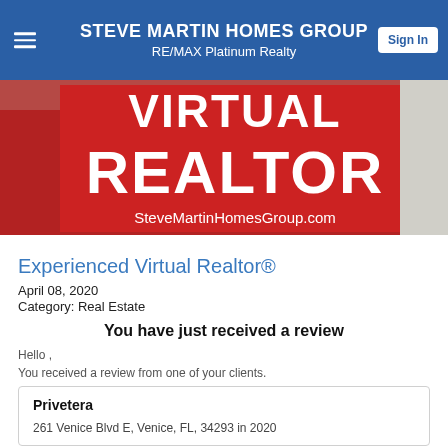STEVE MARTIN HOMES GROUP
RE/MAX Platinum Realty
[Figure (photo): Hero banner image with red background showing text 'VIRTUAL REALTOR' and 'SteveMartinHomesGroup.com' in white text on red background]
Experienced Virtual Realtor®
April 08, 2020
Category: Real Estate
You have just received a review
Hello ,
You received a review from one of your clients.
| Privetera |
| 261 Venice Blvd E, Venice, FL, 34293 in 2020 |